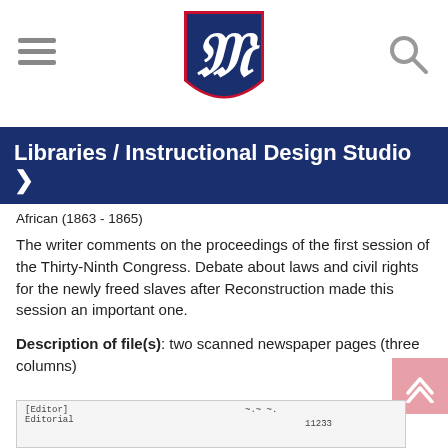Libraries / Instructional Design Studio
African (1863 - 1865)
The writer comments on the proceedings of the first session of the Thirty-Ninth Congress. Debate about laws and civil rights for the newly freed slaves after Reconstruction made this session an important one.
Description of file(s): two scanned newspaper pages (three columns)
[Figure (photo): Scanned newspaper page header showing [Editor] Editorial label and number 11233]